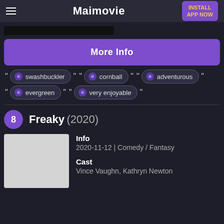Maimovie | INSTALL APP NOW
[Figure (screenshot): Partial black image bar]
More Info
"swashbuckler" "cornball" "adventurous"
"evergreen" "very enjoyable"
8 Freaky (2020)
| Info | Cast |
| --- | --- |
| 2020-11-12 | Comedy / Fantasy | Vince Vaughn, Kathryn Newton |